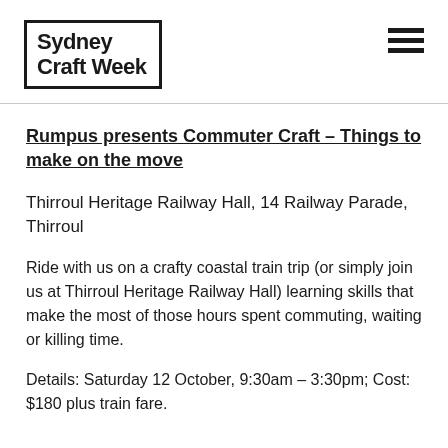Sydney Craft Week
Rumpus presents Commuter Craft – Things to make on the move
Thirroul Heritage Railway Hall, 14 Railway Parade, Thirroul
Ride with us on a crafty coastal train trip (or simply join us at Thirroul Heritage Railway Hall) learning skills that make the most of those hours spent commuting, waiting or killing time.
Details: Saturday 12 October, 9:30am – 3:30pm; Cost: $180 plus train fare.